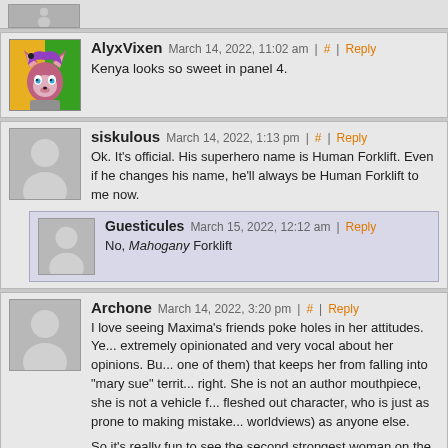[partial comment at top, avatar cropped]
AlyxVixen   March 14, 2022, 11:02 am | # | Reply
Kenya looks so sweet in panel 4.
siskulous   March 14, 2022, 1:13 pm | # | Reply
Ok. It's official. His superhero name is Human Forklift. Even if he changes his name, he'll always be Human Forklift to me now.
Guesticules   March 15, 2022, 12:12 am | Reply
No, Mahogany Forklift
Archone   March 14, 2022, 3:20 pm | # | Reply
I love seeing Maxima's friends poke holes in her attitudes. Yes, Maxima is extremely opinionated and very vocal about her opinions. But it's her flaws (this one of them) that keeps her from falling into "mary sue" territory. She's not always right. She is not an author mouthpiece, she is not a vehicle for the author's views. A fleshed out character, who is just as prone to making mistakes (especially about worldviews) as anyone else.

So it's really fun to see the second strongest woman on the t... "You're being disrespectful towards guys who have done not... attention. Especially that guy. He's been staring at me with o... looked at in that fashion." (Remember, Anvil's admitted to b...